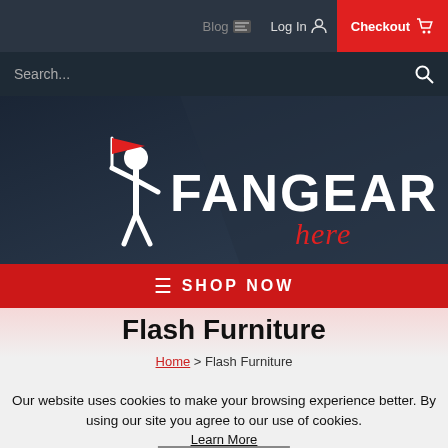Blog | Log In | Checkout
Search...
[Figure (logo): FanGear Here logo with a person holding a red flag on a dark background]
≡ SHOP NOW
Flash Furniture
Home > Flash Furniture
Our website uses cookies to make your browsing experience better. By using our site you agree to our use of cookies.
Learn More
I Agree